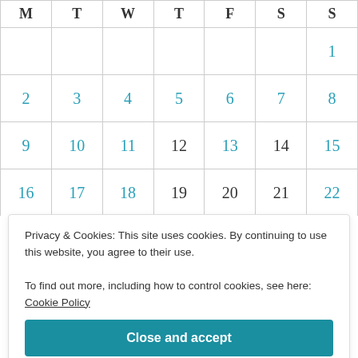| M | T | W | T | F | S | S |
| --- | --- | --- | --- | --- | --- | --- |
|  |  |  |  |  |  | 1 |
| 2 | 3 | 4 | 5 | 6 | 7 | 8 |
| 9 | 10 | 11 | 12 | 13 | 14 | 15 |
| 16 | 17 | 18 | 19 | 20 | 21 | 22 |
| 23 | 24 | 25 | 26 | 27 | 28 | 29 |
| 30 | 31 |  |  |  |  |  |
Privacy & Cookies: This site uses cookies. By continuing to use this website, you agree to their use.
To find out more, including how to control cookies, see here: Cookie Policy
Close and accept